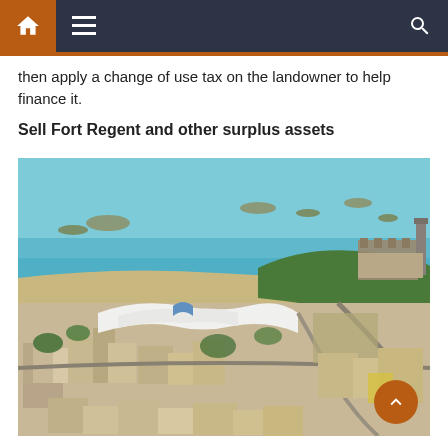Navigation bar with home, menu, and search icons
then apply a change of use tax on the landowner to help finance it.
Sell Fort Regent and other surplus assets
[Figure (photo): Aerial photograph of Fort Regent and St Helier, Jersey, showing the fortified hilltop, the white tensile roof of the leisure centre, the coastline with turquoise sea, rocky outcrops, and the urban townscape below.]